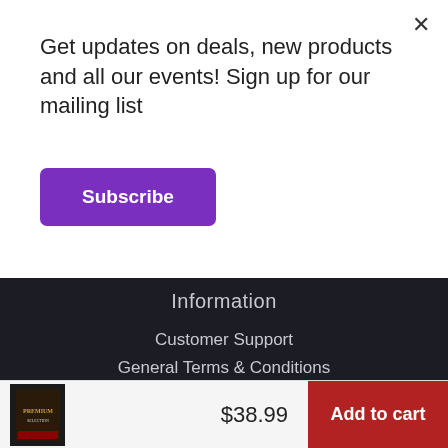Get updates on deals, new products and all our events! Sign up for our mailing list
Subscribe
Information
Customer Support
General Terms & Conditions
Privacy Policy
Sitemap
Shipping & Delivery
Returns & Refunds
About Us
$38.99
Add to cart